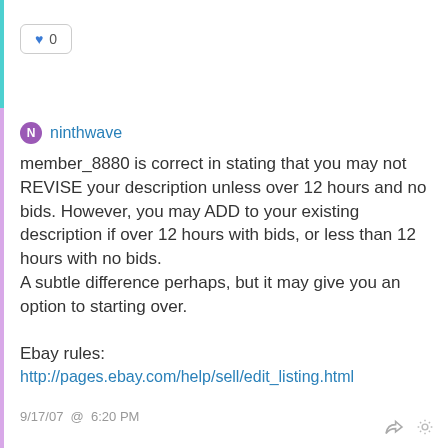♥ 0
ninthwave
member_8880 is correct in stating that you may not REVISE your description unless over 12 hours and no bids. However, you may ADD to your existing description if over 12 hours with bids, or less than 12 hours with no bids.
A subtle difference perhaps, but it may give you an option to starting over.

Ebay rules:
http://pages.ebay.com/help/sell/edit_listing.html
9/17/07 @ 6:20 PM